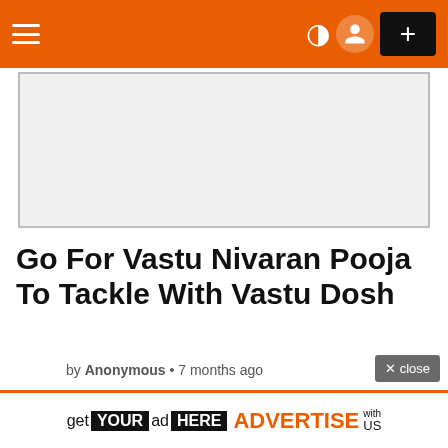Navigation bar with hamburger menu, moon icon, user icon, and plus button
[Figure (photo): Image placeholder (light gray rectangle with border) for article thumbnail]
Go For Vastu Nivaran Pooja To Tackle With Vastu Dosh
by Anonymous • 7 months ago
[Figure (photo): Image placeholder (light gray rectangle with border) for article image]
× close
get YOUR ad HERE ADVERTISE with US